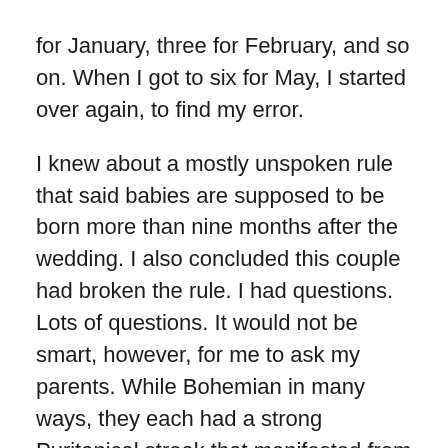for January, three for February, and so on. When I got to six for May, I started over again, to find my error.
I knew about a mostly unspoken rule that said babies are supposed to be born more than nine months after the wedding. I also concluded this couple had broken the rule. I had questions. Lots of questions. It would not be smart, however, for me to ask my parents. While Bohemian in many ways, they each had a strong Puritanical streak that manifested from time to time, and this had all the earmarks of such an occasion. I didn't want to be in the room when they hashed it out between them.
I didn't have any friends to talk to about something like this. I grabbed a green spiral-bound notebook from my schoolbag and wrote out the months, to be extra sure. Wow. The mother-to-be must have been pregnant already